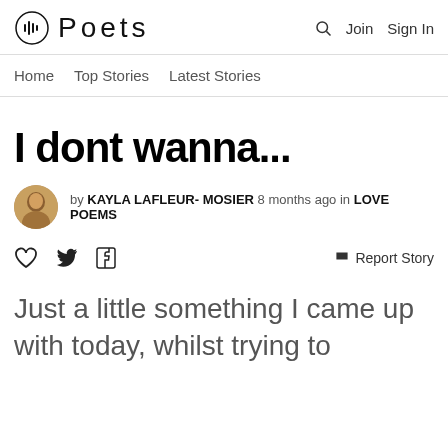Poets   Join  Sign In
Home  Top Stories  Latest Stories
I dont wanna...
by KAYLA LAFLEUR- MOSIER 8 months ago in LOVE POEMS
♡  Twitter  Facebook   Report Story
Just a little something I came up with today, whilst trying to